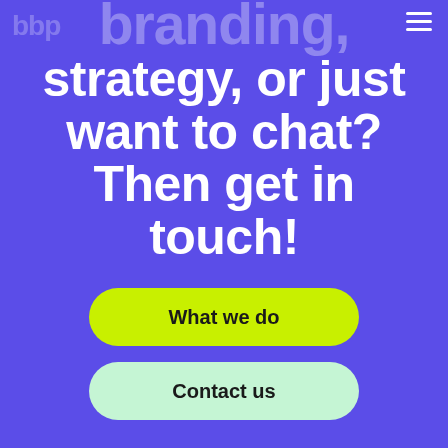bbp
branding, strategy, or just want to chat? Then get in touch!
What we do
Contact us